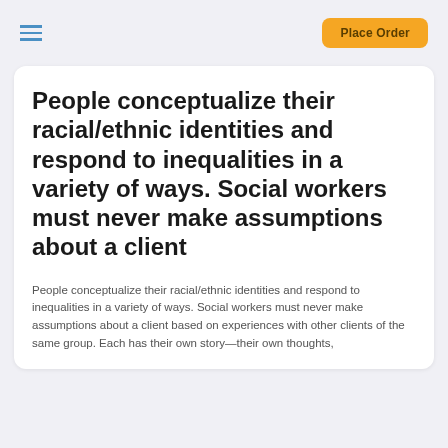Place Order
People conceptualize their racial/ethnic identities and respond to inequalities in a variety of ways. Social workers must never make assumptions about a client
People conceptualize their racial/ethnic identities and respond to inequalities in a variety of ways. Social workers must never make assumptions about a client based on experiences with other clients of the same group. Each has their own story—their own thoughts,